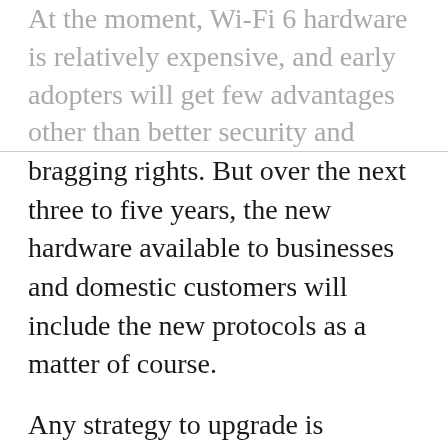At the moment, Wi-Fi 6 hardware is relatively expensive, and early adopters will get few advantages other than better security and bragging rights. But over the next three to five years, the new hardware available to businesses and domestic customers will include the new protocols as a matter of course.
Any strategy to upgrade is probably looking to the medium to long-term, therefore, except for IoT instances. Here there are significant advantages to early adoption: better power management, more nodes-per-access-point, and faster internal communications being the main three, with WPA3 security as a significant bonus — IIoT and IoT are well-known in cybersecurity circles for being poorly protected at present.